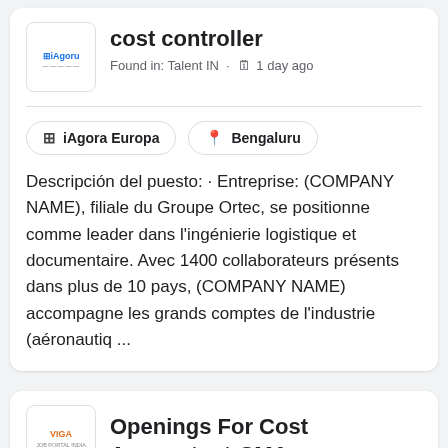cost controller
Found in: Talent IN · 🗓 1 day ago
iAgora Europa
Bengaluru
Descripción del puesto: · Entreprise: (COMPANY NAME), filiale du Groupe Ortec, se positionne comme leader dans l'ingénierie logistique et documentaire. Avec 1400 collaborateurs présents dans plus de 10 pays, (COMPANY NAME) accompagne les grands comptes de l'industrie (aéronautiq ...
Openings For Cost Accountant-CMA